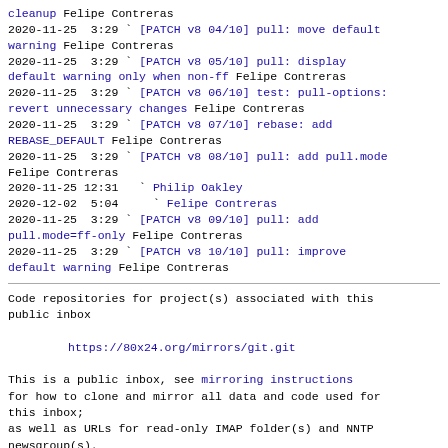cleanup Felipe Contreras
2020-11-25  3:29 ` [PATCH v8 04/10] pull: move default warning Felipe Contreras
2020-11-25  3:29 ` [PATCH v8 05/10] pull: display default warning only when non-ff Felipe Contreras
2020-11-25  3:29 ` [PATCH v8 06/10] test: pull-options: revert unnecessary changes Felipe Contreras
2020-11-25  3:29 ` [PATCH v8 07/10] rebase: add REBASE_DEFAULT Felipe Contreras
2020-11-25  3:29 ` [PATCH v8 08/10] pull: add pull.mode Felipe Contreras
2020-11-25 12:31   ` Philip Oakley
2020-12-02  5:04     ` Felipe Contreras
2020-11-25  3:29 ` [PATCH v8 09/10] pull: add pull.mode=ff-only Felipe Contreras
2020-11-25  3:29 ` [PATCH v8 10/10] pull: improve default warning Felipe Contreras
Code repositories for project(s) associated with this public inbox
https://80x24.org/mirrors/git.git
This is a public inbox, see mirroring instructions for how to clone and mirror all data and code used for this inbox;
as well as URLs for read-only IMAP folder(s) and NNTP newsgroup(s).